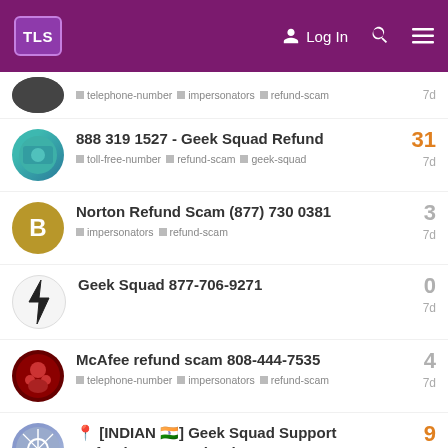TLS Log In
888 319 1527 - Geek Squad Refund | tags: toll-free-number, refund-scam, geek-squad | replies: 31 | 7d
Norton Refund Scam (877) 730 0381 | tags: impersonators, refund-scam | replies: 3 | 7d
Geek Squad 877-706-9271 | replies: 0 | 7d
McAfee refund scam 808-444-7535 | tags: telephone-number, impersonators, refund-scam | replies: 4 | 7d
📍 [INDIAN 🇮🇳] Geek Squad Support Refund Scam: +1 (888) 412-0595 | tags: telephone-number, toll-free-number, tech-support-scam, impersonators, refund-scam | replies: 9 | 8d